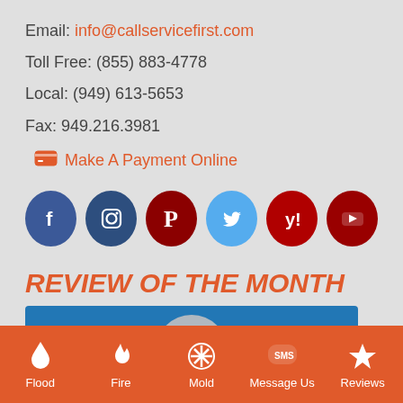Email: info@callservicefirst.com
Toll Free: (855) 883-4778
Local: (949) 613-5653
Fax: 949.216.3981
Make A Payment Online
[Figure (infographic): Row of 6 social media icons: Facebook (dark blue circle), Instagram (dark blue circle), Pinterest (dark red circle), Twitter (light blue circle), Yelp (dark red circle), YouTube (dark red circle)]
REVIEW OF THE MONTH
[Figure (screenshot): Blue card with a grey circular avatar at the bottom center, partially visible]
Flood | Fire | Mold | Message Us | Reviews